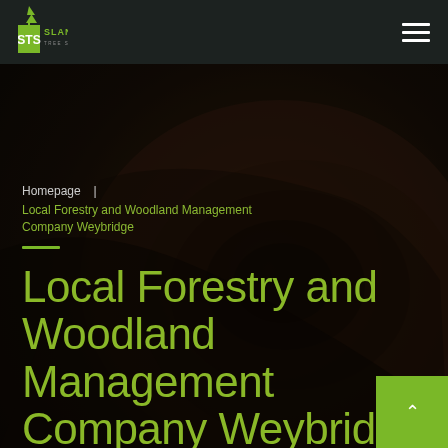[Figure (logo): STS Slaneys Tree Services logo with green tree icon and company name]
Homepage  |  Local Forestry and Woodland Management Company Weybridge
Local Forestry and Woodland Management Company Weybridge